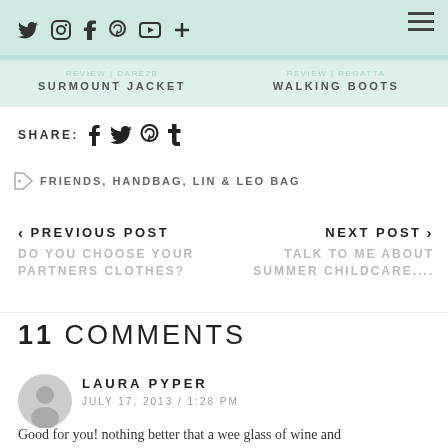social icons: twitter, instagram, facebook, pinterest, youtube, plus | hamburger menu
REVIEW | DARE2B  SURMOUNT JACKET
REVIEW | REGATTA  WALKING BOOTS
SHARE: f t p t
FRIENDS, HANDBAG, LIN & LEO BAG
< PREVIOUS POST  DO YOU CHOOSE YOUR PARTNERS CLOTHES?
NEXT POST >  TALK TO ME ABOUT SUMMER CHILDCARE....
11 COMMENTS
LAURA PYPER
JULY 17, 2013 / 1:28 PM
Good for you! nothing better that a wee glass of wine and